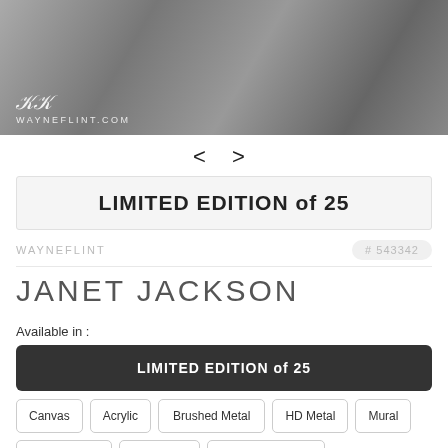[Figure (photo): Black and white artistic photograph with wayneflint.com watermark/signature logo in the lower left corner]
< >
LIMITED EDITION of 25
WAYNEFLINT
# 543342
JANET JACKSON
Available in :
LIMITED EDITION of 25
Canvas
Acrylic
Brushed Metal
HD Metal
Mural
Framed print
Roll prints
Digital Download